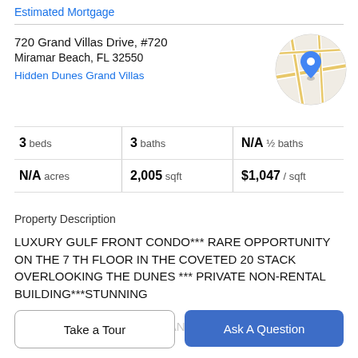Estimated Mortgage
720 Grand Villas Drive, #720
Miramar Beach, FL 32550
Hidden Dunes Grand Villas
[Figure (map): Circular map thumbnail showing street map with blue location pin marker]
|  |  |  |
| --- | --- | --- |
| 3 beds | 3 baths | N/A ½ baths |
| N/A acres | 2,005 sqft | $1,047 / sqft |
Property Description
LUXURY GULF FRONT CONDO*** RARE OPPORTUNITY ON THE 7 TH FLOOR IN THE COVETED 20 STACK OVERLOOKING THE DUNES *** PRIVATE NON-RENTAL BUILDING***STUNNING
PANORAMIC VIEWS*** EXPANSIVE WRAP-AROUND
Take a Tour
Ask A Question